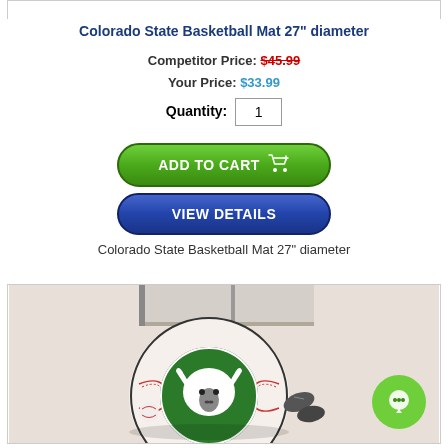Colorado State Basketball Mat 27" diameter
Competitor Price: $45.99
Your Price: $33.99
Quantity: 1
[Figure (screenshot): Add to Cart button (green rounded button with shopping cart icon)]
[Figure (screenshot): View Details button (blue rounded button)]
Colorado State Basketball Mat 27" diameter
[Figure (photo): Photo of a round Colorado State Rams basketball mat on a carpet floor, with a green ram logo in the center and baseball-style stitching pattern]